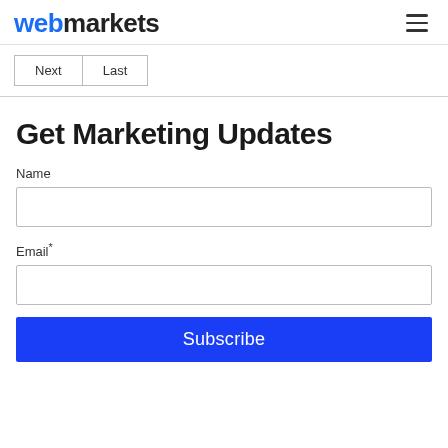webmarkets
Next   Last
Get Marketing Updates
Name
Email*
Subscribe